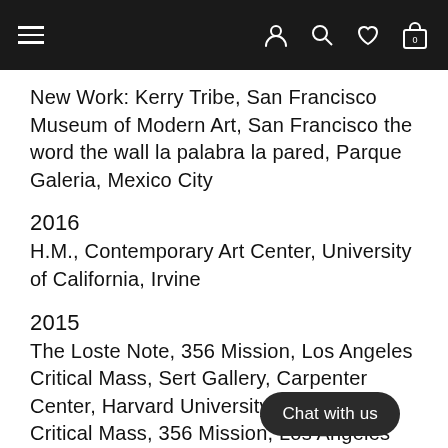≡   [user icon] [search icon] [heart icon] [bag icon: 0]
New Work: Kerry Tribe, San Francisco Museum of Modern Art, San Francisco the word the wall la palabra la pared, Parque Galeria, Mexico City
2016
H.M., Contemporary Art Center, University of California, Irvine
2015
The Loste Note, 356 Mission, Los Angeles Critical Mass, Sert Gallery, Carpenter Center, Harvard University, Cambridge Critical Mass, 356 Mission, Los Angeles
2014
The [...]